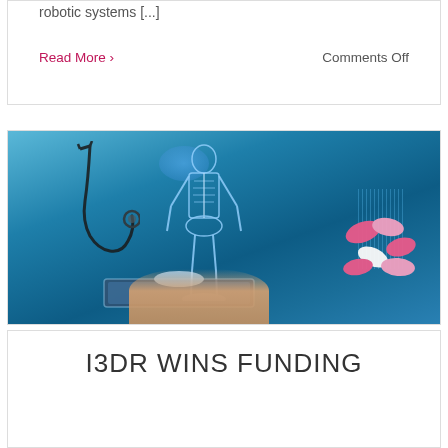robotic systems [...]
Read More ›
Comments Off
[Figure (photo): Medical professional in blue scrubs holding a tablet device, with a holographic human anatomy figure projected above it, stethoscope, brain hologram, DNA strands, and pills visible.]
I3DR WINS FUNDING